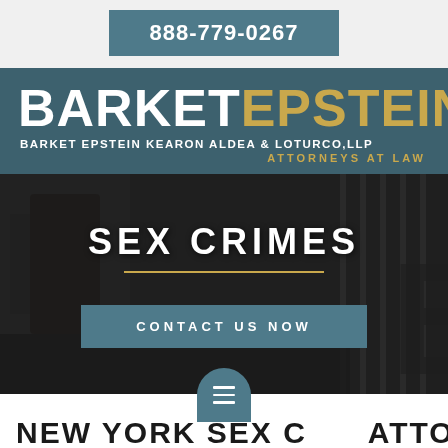888-779-0267
[Figure (logo): Barket Epstein law firm logo with firm name BARKET EPSTEIN KEARON ALDEA & LOTURCO, LLP ATTORNEYS AT LAW on teal/dark background]
[Figure (photo): Dark moody photo of prison corridor with bars, overlaid with text SEX CRIMES and a gold horizontal dividing line and teal CONTACT US NOW button]
NEW YORK SEX C ATTORNEYS